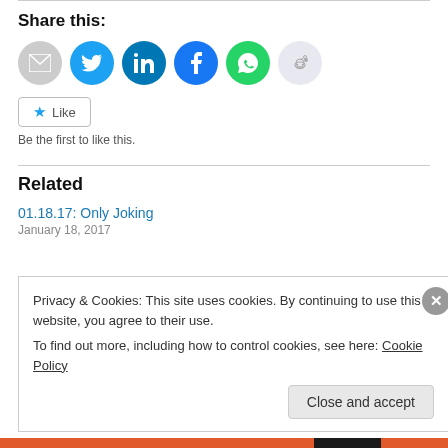Share this:
[Figure (infographic): Row of social share icon buttons: email (grey), Twitter (light blue), LinkedIn (dark blue), Facebook (blue), WhatsApp (green), Reddit (light grey)]
[Figure (infographic): Like button with star icon and text 'Like']
Be the first to like this.
Related
01.18.17: Only Joking
January 18, 2017
Privacy & Cookies: This site uses cookies. By continuing to use this website, you agree to their use.
To find out more, including how to control cookies, see here: Cookie Policy
Close and accept